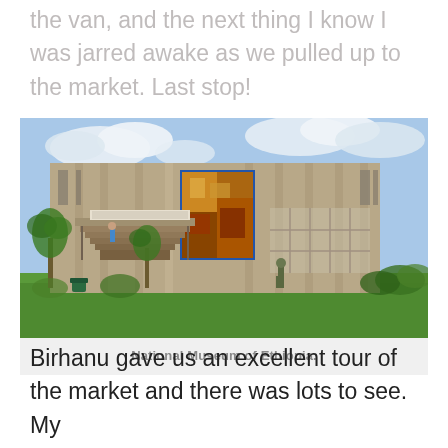the van, and the next thing I know I was jarred awake as we pulled up to the market. Last stop!
[Figure (photo): Photograph of the National Museum of Ethiopia building exterior. A large brutalist concrete building with a colorful mosaic mural on the upper facade. Stairs lead to the entrance, palm trees and greenery are visible, and a statue stands in the foreground on a lawn.]
National Museum of Ethiopia.
Birhanu gave us an excellent tour of the market and there was lots to see. My